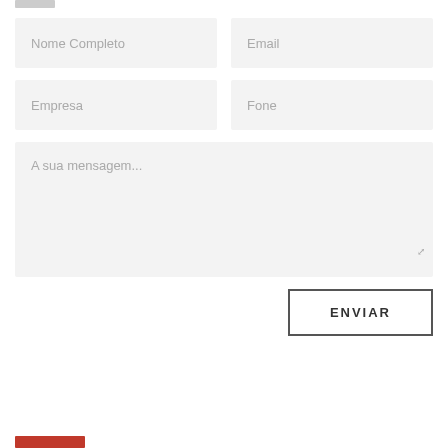[Figure (screenshot): Web contact form with input fields for Nome Completo, Email, Empresa, Fone, a message textarea labeled 'A sua mensagem...', and an ENVIAR (Send) button]
Nome Completo
Email
Empresa
Fone
A sua mensagem...
ENVIAR